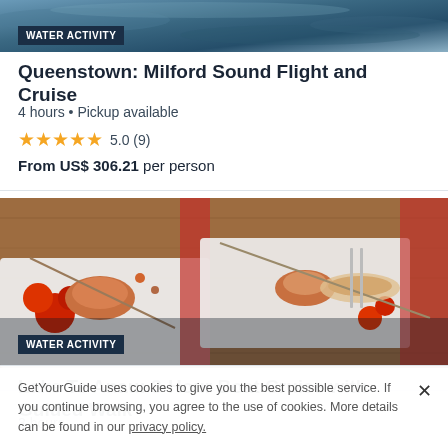[Figure (photo): Aerial or water surface photo at the top of the page, dark blue ocean/lake tones]
WATER ACTIVITY
Queenstown: Milford Sound Flight and Cruise
4 hours • Pickup available
★★★★★ 5.0 (9)
From US$ 306.21 per person
[Figure (photo): Close-up photo of food dishes on white plates — appetizers with cherry tomatoes, fish, and garnishes on a restaurant table]
WATER ACTIVITY
Lake Te Anau: 3-Hour Boat Cruise with Guided Walk
3 hours
GetYourGuide uses cookies to give you the best possible service. If you continue browsing, you agree to the use of cookies. More details can be found in our privacy policy.